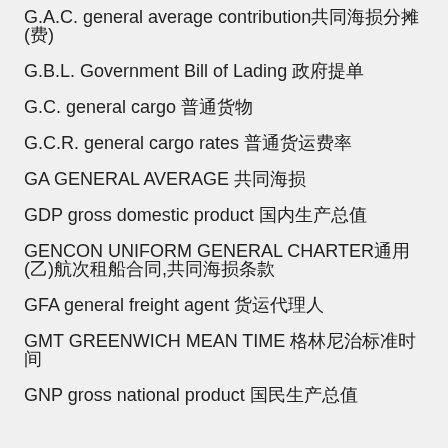G.A.C. general average contribution共同海损分摊(费)
G.B.L. Government Bill of Lading 政府提单
G.C. general cargo 普通货物
G.C.R. general cargo rates 普通货运费率
GA GENERAL AVERAGE 共同海损
GDP gross domestic product 国内生产总值
GENCON UNIFORM GENERAL CHARTER通用(乙)航次租船合同,共同海损条款
GFA general freight agent 货运代理人
GMT GREENWICH MEAN TIME 格林尼治标准时间
GNP gross national product 国民生产总值